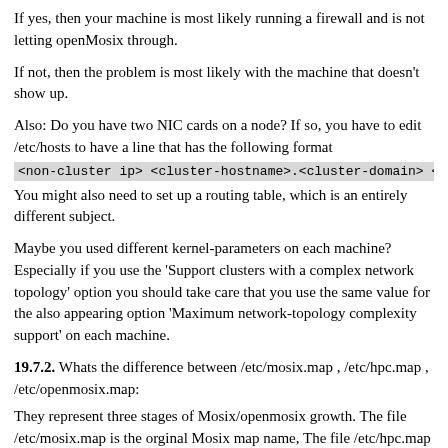If yes, then your machine is most likely running a firewall and is not letting openMosix through.
If not, then the problem is most likely with the machine that doesn't show up.
Also: Do you have two NIC cards on a node? If so, you have to edit /etc/hosts to have a line that has the following format
<non-cluster ip> <cluster-hostname>.<cluster-domain> <cl
You might also need to set up a routing table, which is an entirely different subject.
Maybe you used different kernel-parameters on each machine? Especially if you use the 'Support clusters with a complex network topology' option you should take care that you use the same value for the also appearing option 'Maximum network-topology complexity support' on each machine.
19.7.2. Whats the difference between /etc/mosix.map , /etc/hpc.map , /etc/openmosix.map:
They represent three stages of Mosix/openmosix growth. The file /etc/mosix.map is the orginal Mosix map name, The file /etc/hpc.map was an early openMosix map name (and 'hpc' is still used for the /proc files in openMosix). The current map name is /etc/openmosix.map.